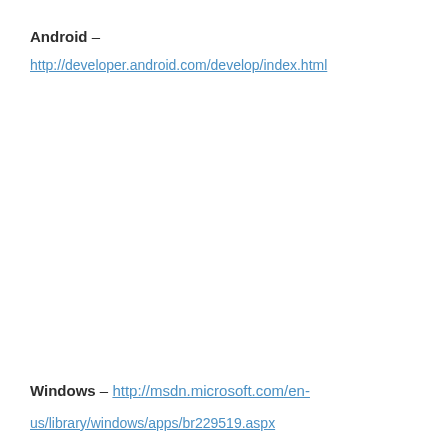Android –
http://developer.android.com/develop/index.html
Windows – http://msdn.microsoft.com/en-us/library/windows/apps/br229519.aspx